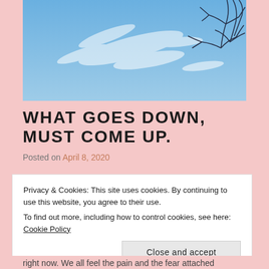[Figure (photo): Photo of a blue sky with wispy white clouds and bare tree branches visible in the upper right corner.]
WHAT GOES DOWN, MUST COME UP.
Posted on April 8, 2020
Privacy & Cookies: This site uses cookies. By continuing to use this website, you agree to their use.
To find out more, including how to control cookies, see here: Cookie Policy
[Close and accept]
right now. We all feel the pain and the fear attached